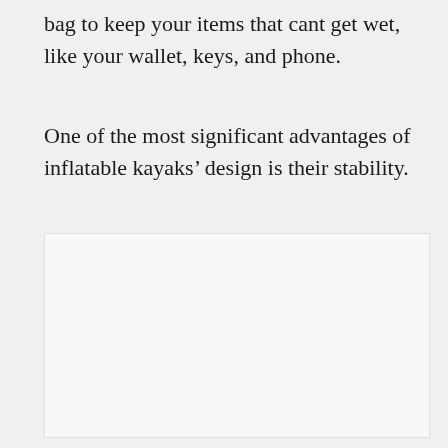bag to keep your items that cant get wet, like your wallet, keys, and phone.
One of the most significant advantages of inflatable kayaks’ design is their stability.
[Figure (photo): A white/blank image placeholder area]